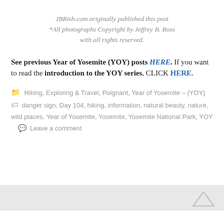JBRish.com originally published this post *All photographs Copyright by Jeffrey B. Ross with all rights reserved.
See previous Year of Yosemite (YOY) posts HERE. If you want to read the introduction to the YOY series, CLICK HERE.
Hiking, Exploring & Travel, Poignant, Year of Yosemite – (YOY)   danger sign, Day 104, hiking, information, natural beauty, nature, wild places, Year of Yosemite, Yosemite, Yosemite National Park, YOY   Leave a comment